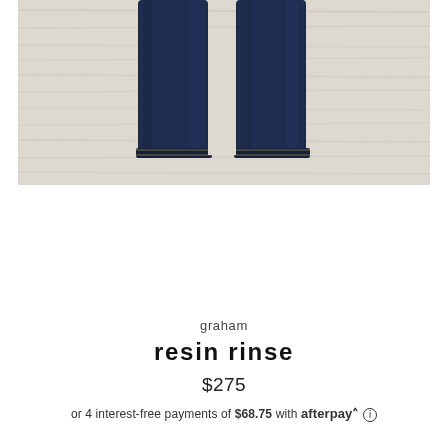[Figure (photo): Dark indigo denim jeans (bottom portion, legs and hem visible) laid flat on a light wood grain surface]
graham
resin rinse
$275
or 4 interest-free payments of $68.75 with afterpay